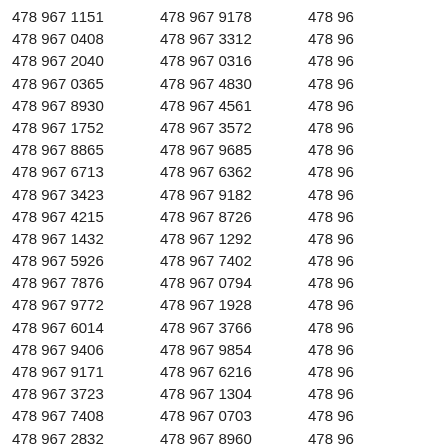Column 1: 478 967 1151, 478 967 0408, 478 967 2040, 478 967 0365, 478 967 8930, 478 967 1752, 478 967 8865, 478 967 6713, 478 967 3423, 478 967 4215, 478 967 1432, 478 967 5926, 478 967 7876, 478 967 9772, 478 967 6014, 478 967 9406, 478 967 9171, 478 967 3723, 478 967 7408, 478 967 2832, 478 967 5314
Column 2: 478 967 9178, 478 967 3312, 478 967 0316, 478 967 4830, 478 967 4561, 478 967 3572, 478 967 9685, 478 967 6362, 478 967 9182, 478 967 8726, 478 967 1292, 478 967 7402, 478 967 0794, 478 967 1928, 478 967 3766, 478 967 9854, 478 967 6216, 478 967 1304, 478 967 0703, 478 967 8960, 478 967 0247
Column 3 (partial): 478 967..., 478 967..., 478 967..., 478 967..., 478 967..., 478 967..., 478 967..., 478 967..., 478 967..., 478 967..., 478 967..., 478 967..., 478 967..., 478 967..., 478 967..., 478 967..., 478 967..., 478 967..., 478 967..., 478 967..., 478 967...